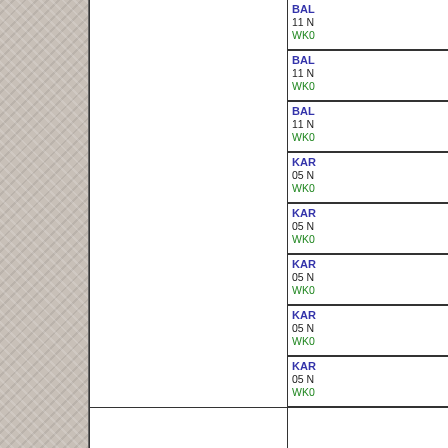|  |  | BAL...
11 N...
WKO... |
|  |  | BAL...
11 N...
WKO... |
|  |  | BAL...
11 N...
WKO... |
|  |  | KAR...
05 N...
WKO... |
|  |  | KAR...
05 N...
WKO... |
|  |  | KAR...
05 N...
WKO... |
|  |  | KAR...
05 N...
WKO... |
|  |  | KAR...
05 N...
WKO... |